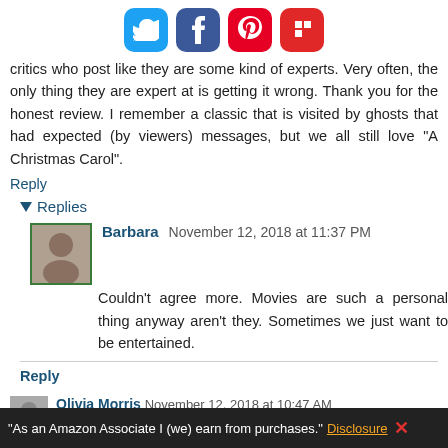[Figure (other): Social sharing icons: Twitter (blue bird), Facebook (blue f), Pinterest (red P), Flipboard (red f)]
critics who post like they are some kind of experts. Very often, the only thing they are expert at is getting it wrong. Thank you for the honest review. I remember a classic that is visited by ghosts that had expected (by viewers) messages, but we all still love "A Christmas Carol".
Reply
▾ Replies
Barbara November 12, 2018 at 11:37 PM
Couldn't agree more. Movies are such a personal thing anyway aren't they. Sometimes we just want to be entertained.
Reply
Olivia Morris November 12, 2018 at 10:47 AM
"As an Amazon Associate I (we) earn from purchases." Disclosure X